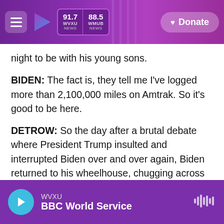[Figure (screenshot): WVXU/WMUB radio station navigation header bar with hamburger menu, play arrow logo, 91.7 WVXU NEWS and 88.5 WMUB NEWS station badges, and a Donate button on a purple gradient background]
night to be with his young sons.
BIDEN: The fact is, they tell me I've logged more than 2,100,000 miles on Amtrak. So it's good to be here.
DETROW: So the day after a brutal debate where President Trump insulted and interrupted Biden over and over again, Biden returned to his wheelhouse, chugging across eastern Ohio and western Pennsylvania on a whistle stop tour. Biden got out of the special seven-car Amtrak charter and spoke in Alliance, Pittsburgh and Johnstown
[Figure (screenshot): Bottom audio player bar showing WVXU BBC World Service with a cyan play button circle and waveform icon on purple background]